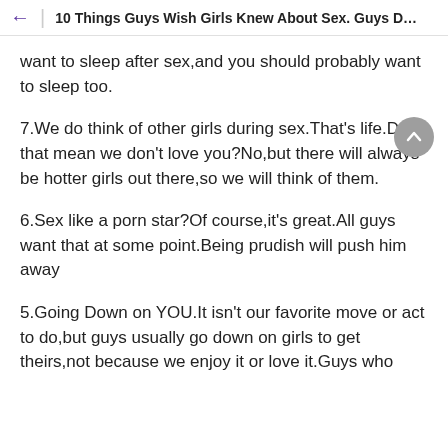10 Things Guys Wish Girls Knew About Sex. Guys Do Y…
want to sleep after sex,and you should probably want to sleep too.
7.We do think of other girls during sex.That's life.Does that mean we don't love you?No,but there will always be hotter girls out there,so we will think of them.
6.Sex like a porn star?Of course,it's great.All guys want that at some point.Being prudish will push him away
5.Going Down on YOU.It isn't our favorite move or act to do,but guys usually go down on girls to get theirs,not because we enjoy it or love it.Guys who